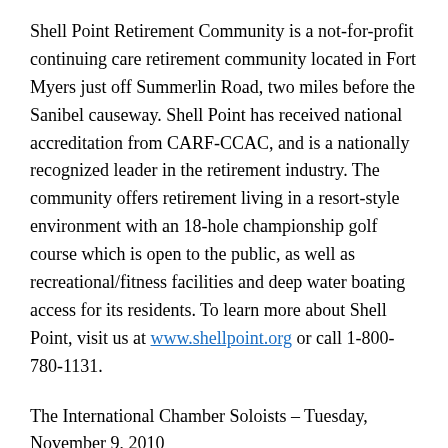Shell Point Retirement Community is a not-for-profit continuing care retirement community located in Fort Myers just off Summerlin Road, two miles before the Sanibel causeway. Shell Point has received national accreditation from CARF-CCAC, and is a nationally recognized leader in the retirement industry. The community offers retirement living in a resort-style environment with an 18-hole championship golf course which is open to the public, as well as recreational/fitness facilities and deep water boating access for its residents. To learn more about Shell Point, visit us at www.shellpoint.org or call 1-800-780-1131.
The International Chamber Soloists – Tuesday, November 9, 2010
The International Chamber Soloists features a unique group of extraordinary young string players from all over the world. There are musicians from Russia, Bulgaria, Belarus, Latvia, Korea, Taiwan, New Zealand, Australia, Brazil, and the United